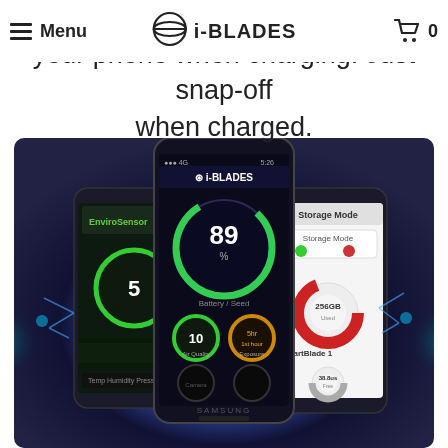Menu | i-BLADES | 0
packs and c ... stop using your phone when charging. Just snap-off when charged.
[Figure (photo): Three Samsung smartphones displaying the i-BLADES app interface. The left phone shows an EnviroSensor screen with a gauge reading '5'. The center phone shows a battery/charging screen with a circular gauge reading '89%' and controls labeled 'Air Quality' and 'Exposure'. The right phone shows a 'Storage Mode' screen with a donut chart labeled '256GB' and 'SmartBlade 1' with '38.8us'. The phones are set against a glowing blue electric background.]